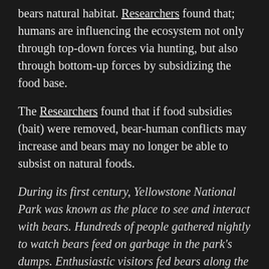bears natural habitat. Researchers found that; humans are influencing the ecosystem not only through top-down forces via hunting, but also through bottom-up forces by subsidizing the food base.
The Researchers found that if food subsidies (bait) were removed, bear-human conflicts may increase and bears may no longer be able to subsist on natural foods.
During its first century, Yellowstone National Park was known as the place to see and interact with bears. Hundreds of people gathered nightly to watch bears feed on garbage in the park's dumps. Enthusiastic visitors fed bears along the roads and behaved recklessly to take